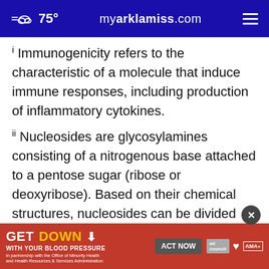75° myarklamiss.com
i Immunogenicity refers to the characteristic of a molecule that induce immune responses, including production of inflammatory cytokines.
ii Nucleosides are glycosylamines consisting of a nitrogenous base attached to a pentose sugar (ribose or deoxyribose). Based on their chemical structures, nucleosides can be divided into two classes: ribonucleosides and deoxyribonucleosides. When a nucleoside joins with a phosphate group, it forms a nucleotide, which
[Figure (screenshot): Advertisement banner: GET DOWN WITH YOUR BLOOD PRESSURE - ACT NOW - In partnership with the Office of Minority Health and Health Resources & Services Administration. Logos: ad council, American Heart Association, AMA.]